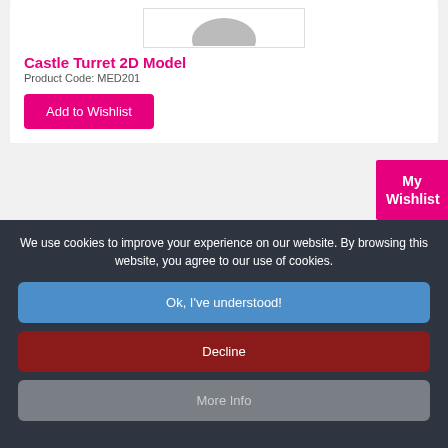[Figure (illustration): Partial product image at the top of the page (cropped castle turret product thumbnail)]
Castle Turret 2D Model
Product Code: MED201
Add to Wishlist
My Wishlist
[Figure (illustration): Castle turret 2D model illustration showing a stone castle wall with battlements and an arched gateway, rendered in grayscale]
We use cookies to improve your experience on our website. By browsing this website, you agree to our use of cookies.
Ok, I've understood!
Decline
More Info